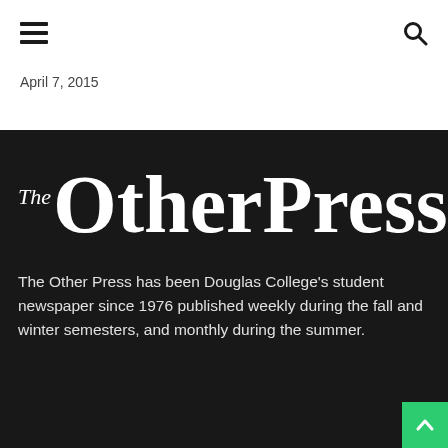April 7, 2015
[Figure (logo): The Other Press logo — large white serif text on black background]
The Other Press has been Douglas College's student newspaper since 1976 published weekly during the fall and winter semesters, and monthly during the summer.